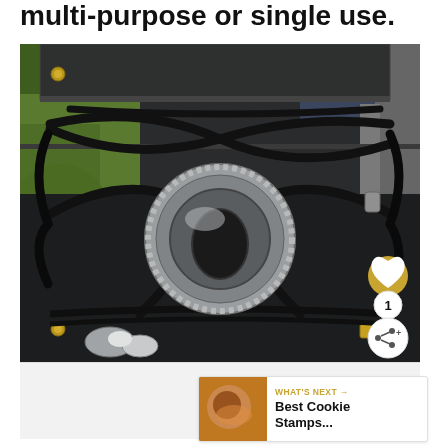multi-purpose or single use.
[Figure (photo): Close-up photo of a camp stove with black metal grate/burner support bars and a silver circular burner head, set in a dark metal box frame, with green grass and foliage visible in the background. A gold/yellow heart-shaped like button, a like count of 1, and a share button are overlaid on the bottom right.]
WHAT'S NEXT → Best Cookie Stamps...